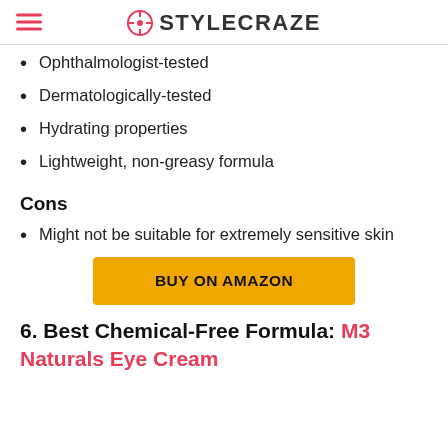STYLECRAZE
Ophthalmologist-tested
Dermatologically-tested
Hydrating properties
Lightweight, non-greasy formula
Cons
Might not be suitable for extremely sensitive skin
[Figure (other): Orange 'BUY ON AMAZON' button]
6. Best Chemical-Free Formula: M3 Naturals Eye Cream